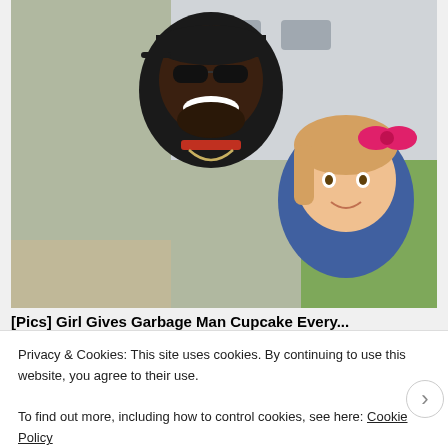[Figure (photo): A smiling man wearing sunglasses and a black cap posing cheek-to-cheek with a young blonde girl wearing a pink bow, outdoors near a white truck with green lawn in background.]
[Pics] Girl Gives Garbage Man Cupcake Every...
Privacy & Cookies: This site uses cookies. By continuing to use this website, you agree to their use.
To find out more, including how to control cookies, see here: Cookie Policy
Close and accept